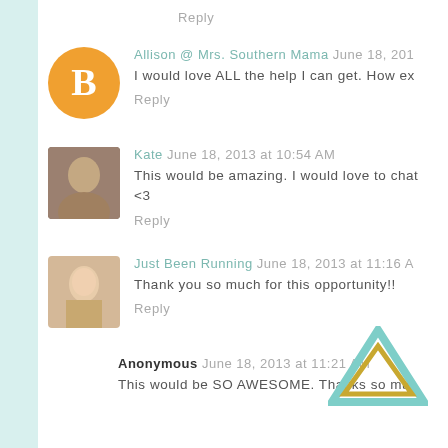Reply
Allison @ Mrs. Southern Mama June 18, 201…
I would love ALL the help I can get. How ex…
Reply
Kate June 18, 2013 at 10:54 AM
This would be amazing. I would love to chat… <3
Reply
Just Been Running June 18, 2013 at 11:16 A…
Thank you so much for this opportunity!!
Reply
Anonymous June 18, 2013 at 11:21 AM
This would be SO AWESOME. Thanks so mu…